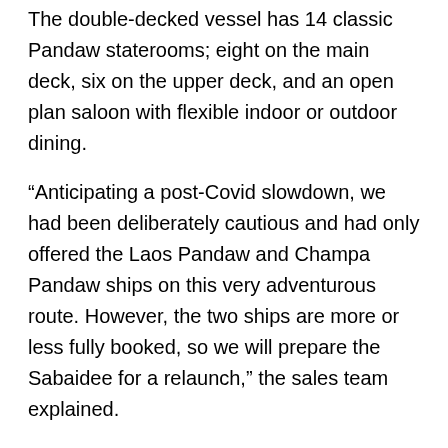The double-decked vessel has 14 classic Pandaw staterooms; eight on the main deck, six on the upper deck, and an open plan saloon with flexible indoor or outdoor dining.
“Anticipating a post-Covid slowdown, we had been deliberately cautious and had only offered the Laos Pandaw and Champa Pandaw ships on this very adventurous route. However, the two ships are more or less fully booked, so we will prepare the Sabaidee for a relaunch,” the sales team explained.
Pandaw Cruises describes the 10-night Laos Mekong itinerary as “probably the most exciting river expedition anywhere with its fast waters cutting through rocky gorges, towering mountains and rich forests.” But the cruises are also a window of opportunity to explore and interact with the ethnic minority villages and visit the World Heritage town of